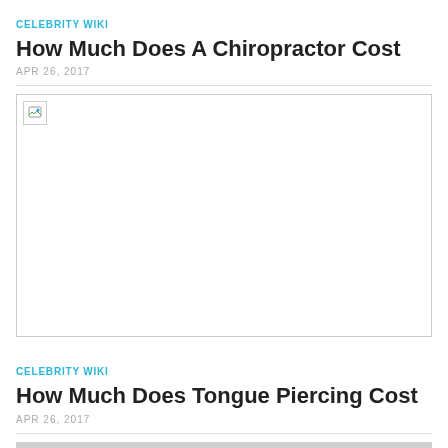CELEBRITY WIKI
How Much Does A Chiropractor Cost
APR 26, 2017
[Figure (photo): Broken image placeholder for chiropractor article]
CELEBRITY WIKI
How Much Does Tongue Piercing Cost
APR 26, 2017
[Figure (photo): Partial gray image placeholder for tongue piercing article]